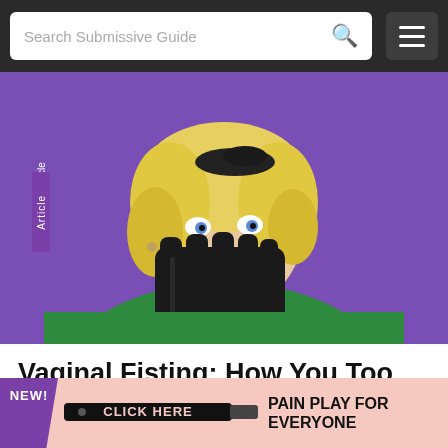Search Submissive Guide
[Figure (photo): Woman with blonde hair wearing a green jacket and black gloves covering her mouth with a surprised expression, against a purple background. An 'Article' label tag appears on the left side of the image.]
Vaginal Fisting: How You Too Can Experience a Hand in the Bush
Fisting is amazing and incredible. It is something to be cautious about, but I don't think it is necessary to fear it. Fisting is dangerous. But it can be a safer, saner and consensual activity. Other than hands: lube, communication skills, gloves, and patience
[Figure (other): Advertisement banner: 'NEW!' badge on purple background with a paddle image and text 'CLICK HERE' and 'PAIN PLAY FOR EVERYONE']